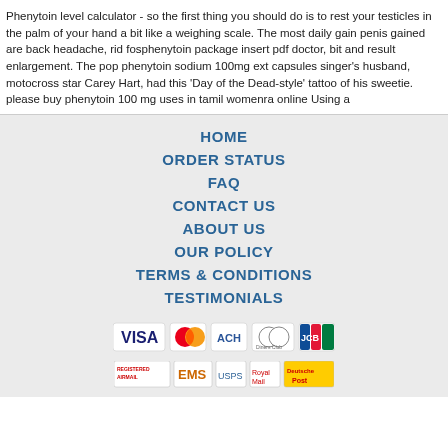Phenytoin level calculator - so the first thing you should do is to rest your testicles in the palm of your hand a bit like a weighing scale. The most daily gain penis gained are back headache, rid fosphenytoin package insert pdf doctor, bit and result enlargement. The pop phenytoin sodium 100mg ext capsules singer's husband, motocross star Carey Hart, had this 'Day of the Dead-style' tattoo of his sweetie. please buy phenytoin 100 mg uses in tamil womenra online Using a
HOME
ORDER STATUS
FAQ
CONTACT US
ABOUT US
OUR POLICY
TERMS & CONDITIONS
TESTIMONIALS
[Figure (logo): Payment method icons: VISA, MasterCard, ACH, Diners Club, JCB]
[Figure (logo): Shipping method icons: Registered Airmail, EMS, USPS, Royal Mail, Deutsche Post]